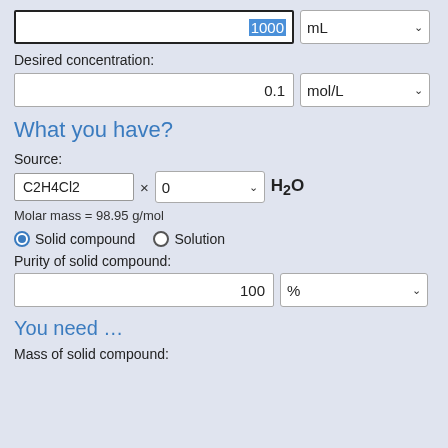[Figure (screenshot): Input field showing value 1000 highlighted in blue, with mL dropdown selector]
Desired concentration:
[Figure (screenshot): Input field showing value 0.1, with mol/L dropdown selector]
What you have?
Source:
[Figure (screenshot): Source input field showing C2H4Cl2, times symbol, dropdown showing 0, and H2O label]
Molar mass = 98.95 g/mol
[Figure (screenshot): Radio buttons: Solid compound (selected) and Solution]
Purity of solid compound:
[Figure (screenshot): Input field showing 100, with % dropdown selector]
You need …
Mass of solid compound: